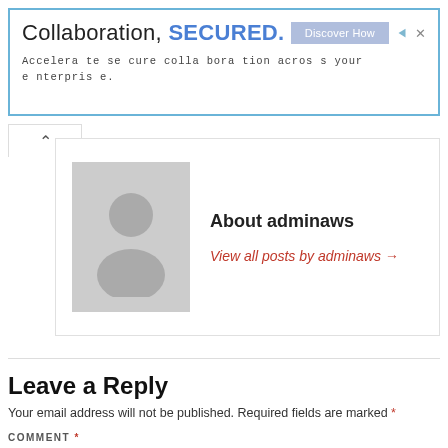[Figure (screenshot): Advertisement banner with blue border. Text: 'Collaboration, SECURED.' with blue bold 'SECURED.' and 'Discover How' button. Subtext: 'Accelerate secure collaboration across your enterprise.']
About adminaws
View all posts by adminaws →
Leave a Reply
Your email address will not be published. Required fields are marked *
COMMENT *